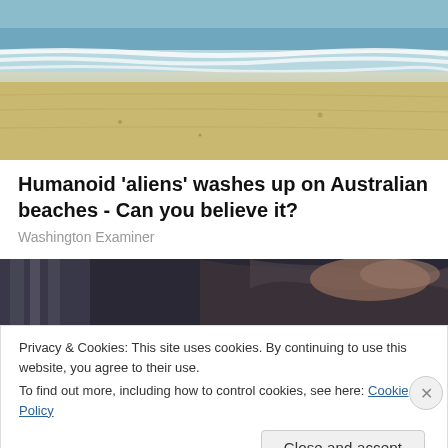[Figure (photo): Beach scene with ocean waves in the background and sandy beach in the foreground. Sky is light blue, waves are white and blue, sand is tan/beige.]
Humanoid 'aliens' washes up on Australian beaches - Can you believe it?
Washington Examiner
[Figure (photo): Partial photo showing a person with dark hair, cropped, with a striped item on the left side. Dark background.]
Privacy & Cookies: This site uses cookies. By continuing to use this website, you agree to their use.
To find out more, including how to control cookies, see here: Cookie Policy
Close and accept